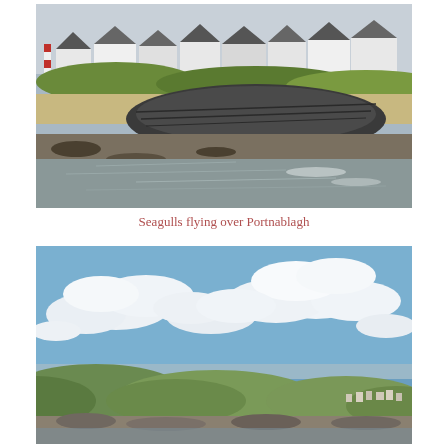[Figure (photo): Coastal scene at Portnablagh: rocky shoreline in the foreground with layered stone outcroppings, choppy water, sandy beach, grassy dunes with a red-and-white striped lighthouse on the left, and a row of modern white and grey houses along the coast in the background under an overcast sky.]
Seagulls flying over Portnablagh
[Figure (photo): Wide panoramic coastal landscape with a large blue sky filled with white cumulus clouds occupying the upper two-thirds of the image. The lower portion shows green rolling hills and a small coastal village or town visible in the distance on the right side, with rocky shoreline in the foreground.]